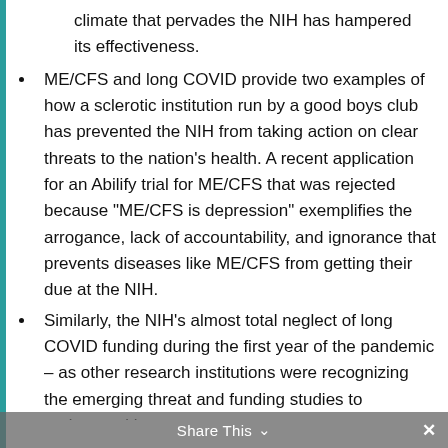climate that pervades the NIH has hampered its effectiveness.
ME/CFS and long COVID provide two examples of how a sclerotic institution run by a good boys club has prevented the NIH from taking action on clear threats to the nation's health. A recent application for an Abilify trial for ME/CFS that was rejected because “ME/CFS is depression” exemplifies the arrogance, lack of accountability, and ignorance that prevents diseases like ME/CFS from getting their due at the NIH.
Similarly, the NIH’s almost total neglect of long COVID funding during the first year of the pandemic – as other research institutions were recognizing the emerging threat and funding studies to understand it –